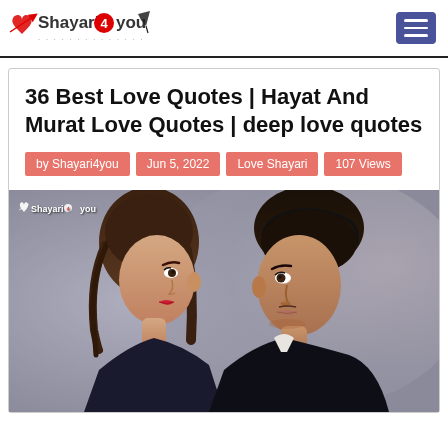Shayari4you — navigation bar with hamburger menu
36 Best Love Quotes | Hayat And Murat Love Quotes | deep love quotes
by Shayari4you   Jun 5, 2022   Love Shayari   107 Views
[Figure (photo): Featured photo showing two people (a young woman and a young man) facing each other in a romantic pose, with a Shayari4you watermark logo in the top-left corner of the image.]